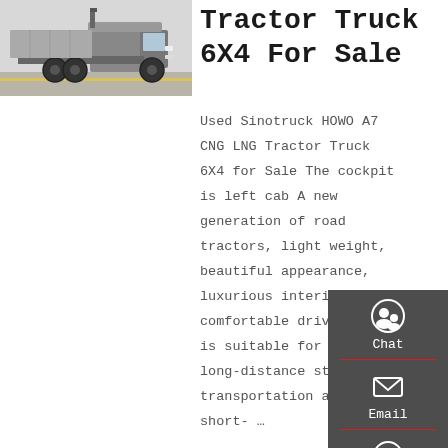[Figure (photo): Photo of a Sinotruck HOWO A7 tractor truck, side/front view, in a parking area]
Tractor Truck 6X4 For Sale
Used Sinotruck HOWO A7 CNG LNG Tractor Truck 6X4 for Sale The cockpit is left cab A new generation of road tractors, light weight, beautiful appearance, luxurious interior, and comfortable driving is suitable for highway long-distance standard transportation and short- …